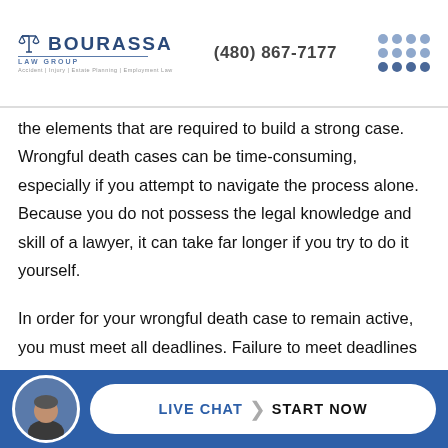BOURASSA LAW GROUP | Accident | Injury | Estate Planning | Employment Law | (480) 867-7177
the elements that are required to build a strong case. Wrongful death cases can be time-consuming, especially if you attempt to navigate the process alone. Because you do not possess the legal knowledge and skill of a lawyer, it can take far longer if you try to do it yourself.
In order for your wrongful death case to remain active, you must meet all deadlines. Failure to meet deadlines can derail…
LIVE CHAT | START NOW